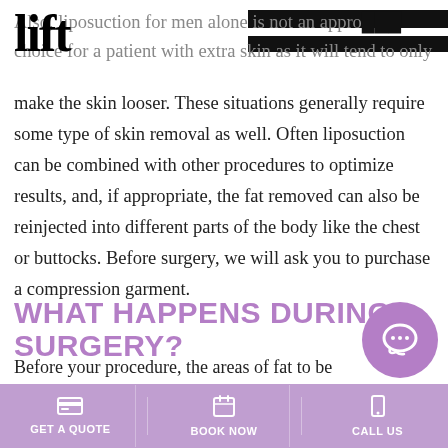lift
Also, liposuction for men alone is not an appropriate choice for a patient with extra skin as it will tend to only make the skin looser. These situations generally require some type of skin removal as well. Often liposuction can be combined with other procedures to optimize results, and, if appropriate, the fat removed can also be reinjected into different parts of the body like the chest or buttocks. Before surgery, we will ask you to purchase a compression garment.
WHAT HAPPENS DURING SURGERY?
Before your procedure, the areas of fat to be removed will be marked. The procedure is done under general
[Figure (other): Purple circular chat/speech bubble icon overlay in bottom right area]
GET A QUOTE | BOOK NOW | CALL US